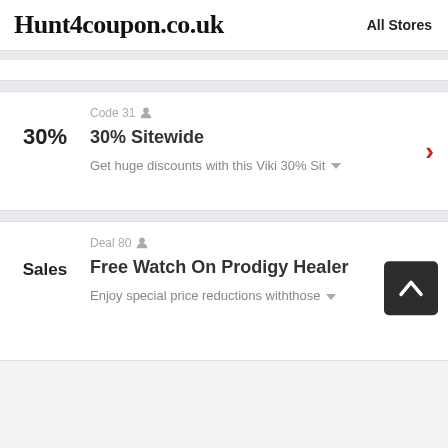Hunt4coupon.co.uk   All Stores
Code 31
30% Sitewide
Get huge discounts with this Viki 30% Sit
Deal 80
Free Watch On Prodigy Healer
Enjoy special price reductions withthose